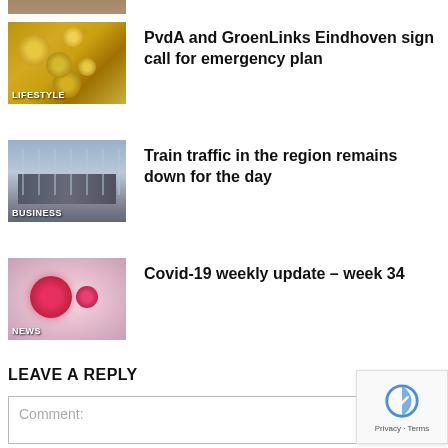[Figure (photo): Partial image of coins at top of page (cropped)]
[Figure (photo): Coins/money thumbnail with LIFESTYLE label]
PvdA and GroenLinks Eindhoven sign call for emergency plan
[Figure (photo): Train station platform thumbnail with BUSINESS label]
Train traffic in the region remains down for the day
[Figure (photo): Covid-19 coronavirus particle thumbnail with NEWS label]
Covid-19 weekly update – week 34
LEAVE A REPLY
Comment: